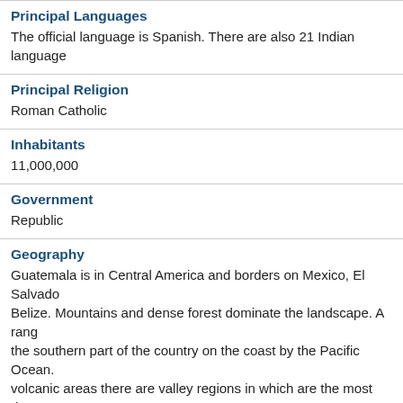Principal Languages
The official language is Spanish. There are also 21 Indian language…
Principal Religion
Roman Catholic
Inhabitants
11,000,000
Government
Republic
Geography
Guatemala is in Central America and borders on Mexico, El Salvador, Belize. Mountains and dense forest dominate the landscape. A range of the southern part of the country on the coast by the Pacific Ocean. B volcanic areas there are valley regions in which are the most dense…
Travel preparation
Best time to visit
Guatemala can be visited year-round, but the most comfortable time is the dry season, which lasts from December through to April.